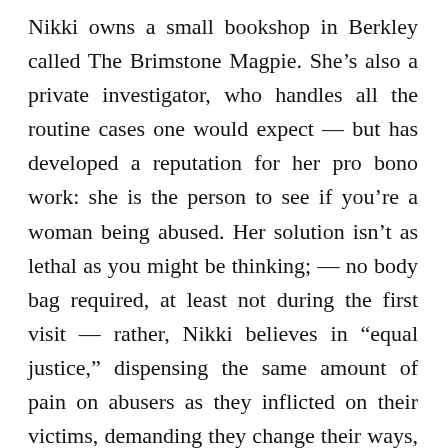Nikki owns a small bookshop in Berkley called The Brimstone Magpie. She’s also a private investigator, who handles all the routine cases one would expect — but has developed a reputation for her pro bono work: she is the person to see if you’re a woman being abused. Her solution isn’t as lethal as you might be thinking; — no body bag required, at least not during the first visit — rather, Nikki believes in “equal justice,” dispensing the same amount of pain on abusers as they inflicted on their victims, demanding they change their ways, or else. Her vigilantism can be traced back to the horrific childhood tragedy that led her beloved younger brother into a life of addiction, which we learn more